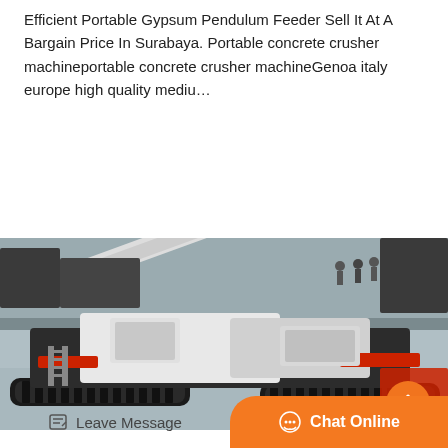Efficient Portable Gypsum Pendulum Feeder Sell It At A Bargain Price In Surabaya. Portable concrete crusher machineportable concrete crusher machineGenoa italy europe high quality mediu…
[Figure (other): Button labeled 'Get Price' with orange background and white bold text]
[Figure (photo): Aerial/overhead photo of a large portable mobile crushing machine on a paved surface, white and black in color with crawler tracks, shown from above with people visible in background]
Leave Message
Chat Online